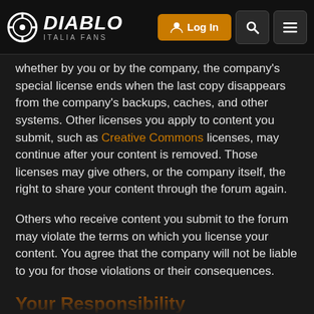Diablo Italia Fans — Log In
whether by you or by the company, the company's special license ends when the last copy disappears from the company's backups, caches, and other systems. Other licenses you apply to content you submit, such as Creative Commons licenses, may continue after your content is removed. Those licenses may give others, or the company itself, the right to share your content through the forum again.
Others who receive content you submit to the forum may violate the terms on which you license your content. You agree that the company will not be liable to you for those violations or their consequences.
Your Responsibility
You agree to indemnify the company from legal claims by others related to your breach of these terms, or breach of these terms by others using your account on the forum. Both you and the company agree to notify the other side of any legal claims for which you might have to indemnify the